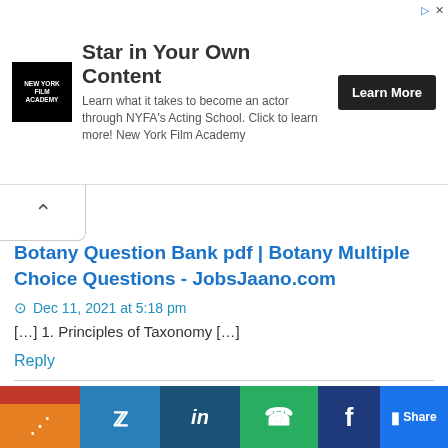[Figure (infographic): Advertisement banner for New York Film Academy. Headline: 'Star in Your Own Content'. Description: 'Learn what it takes to become an actor through NYFA's Acting School. Click to learn more! New York Film Academy'. Button: 'Learn More'.]
Botany Question Bank pdf | Botany Multiple Choice Questions - JobsJaano.com
Dec 11, 2021 at 5:18 pm
[…] 1. Principles of Taxonomy […]
Reply
Plant Growth and Development NEET Questions - JobsJaano.com
Dec 11, 2021 at 5:55 pm
[Figure (infographic): Social sharing bar with Pinterest, Twitter, LinkedIn, WhatsApp, Facebook, and Share buttons.]